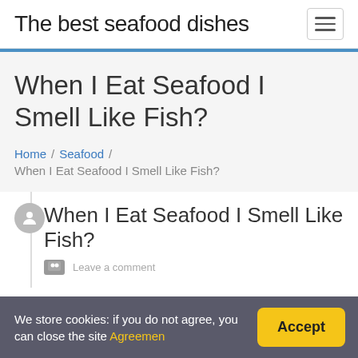The best seafood dishes
When I Eat Seafood I Smell Like Fish?
Home / Seafood / When I Eat Seafood I Smell Like Fish?
When I Eat Seafood I Smell Like Fish?
Leave a comment
We store cookies: if you do not agree, you can close the site Agreemen